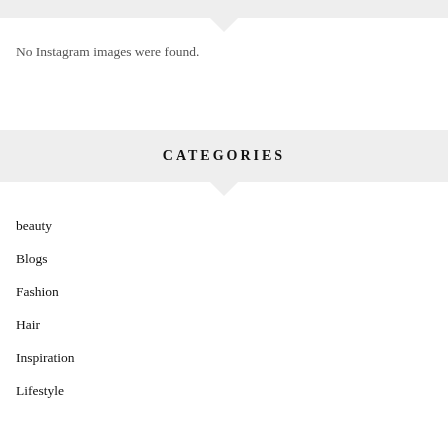No Instagram images were found.
CATEGORIES
beauty
Blogs
Fashion
Hair
Inspiration
Lifestyle